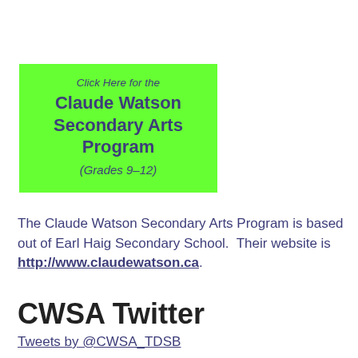[Figure (other): Green banner box with text: 'Click Here for the Claude Watson Secondary Arts Program (Grades 9-12)']
The Claude Watson Secondary Arts Program is based out of Earl Haig Secondary School.  Their website is http://www.claudewatson.ca.
CWSA Twitter
Tweets by @CWSA_TDSB